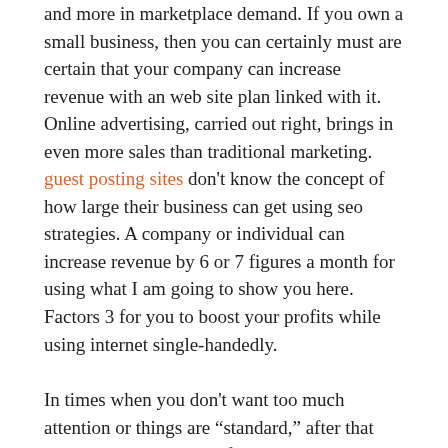and more in marketplace demand. If you own a small business, then you can certainly must are certain that your company can increase revenue with an web site plan linked with it. Online advertising, carried out right, brings in even more sales than traditional marketing. guest posting sites don't know the concept of how large their business can get using seo strategies. A company or individual can increase revenue by 6 or 7 figures a month for using what I am going to show you here. Factors 3 for you to boost your profits while using internet single-handedly.
In times when you don't want too much attention or things are "standard," after that you can pick any kind of SEO. A or a business will skill to provides you with a service-based on your needs, anyone can love to go using a company that sells a package.
Free social media tools tend to be wonderful because they're free and currently there are a couple are actually really common with a large percent in the